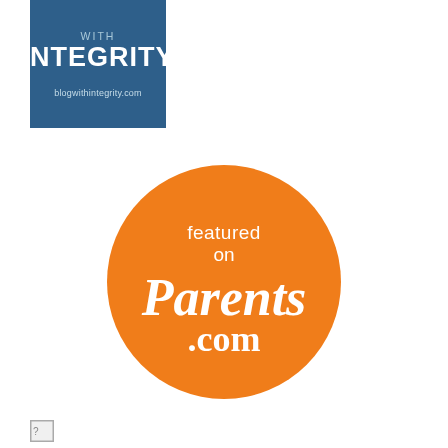[Figure (logo): Blog With Integrity badge — dark blue rectangle with text 'WITH INTEGRITY' and 'blogwithintegrity.com']
[Figure (logo): Featured on Parents.com orange circular badge]
[Figure (other): Broken/missing image placeholder icon]
Privacy & Cookies: This site uses cookies. By continuing to use this website, you agree to their use.
To find out more, including how to control cookies, see here: Cookie Policy
Close and accept